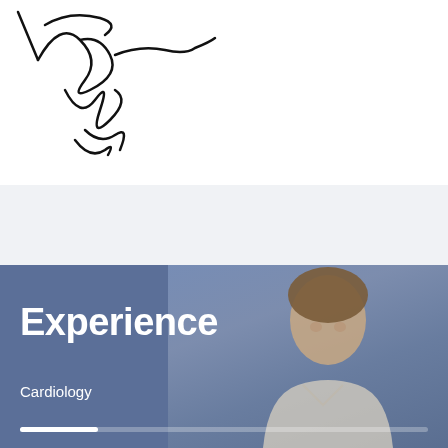[Figure (illustration): A handwritten signature in black ink on white background, scrawled cursive marks]
[Figure (photo): A banner image showing a medical professional (man in white coat looking down) with a blue overlay. Text reads 'Experience' in large bold white font, with 'Cardiology' below and a white progress bar at the bottom.]